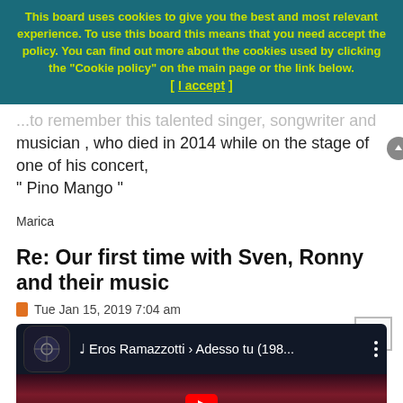This board uses cookies to give you the best and most relevant experience. To use this board this means that you need accept the policy. You can find out more about the cookies used by clicking the "Cookie policy" on the main page or the link below. [ I accept ]
...to remember this talented singer, songwriter and musician , who died in 2014 while on the stage of one of his concert,
" Pino Mango "
Marica
Re: Our first time with Sven, Ronny and their music
Tue Jan 15, 2019 7:04 am
[Figure (screenshot): YouTube video thumbnail showing Eros Ramazzotti - Adesso tu (198...) with dark concert background and play button]